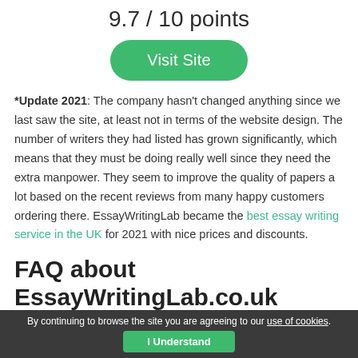9.7 / 10 points
[Figure (other): Green rounded button labeled 'Visit Site']
*Update 2021: The company hasn't changed anything since we last saw the site, at least not in terms of the website design. The number of writers they had listed has grown significantly, which means that they must be doing really well since they need the extra manpower. They seem to improve the quality of papers a lot based on the recent reviews from many happy customers ordering there. EssayWritingLab became the best essay writing service in the UK for 2021 with nice prices and discounts.
FAQ about EssayWritingLab.co.uk
By continuing to browse the site you are agreeing to our use of cookies. I Understand